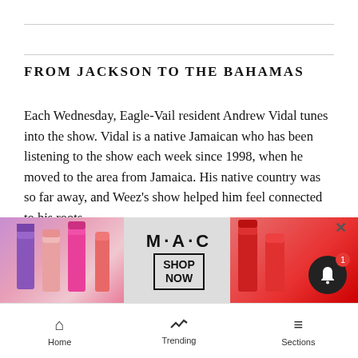FROM JACKSON TO THE BAHAMAS
Each Wednesday, Eagle-Vail resident Andrew Vidal tunes into the show. Vidal is a native Jamaican who has been listening to the show each week since 1998, when he moved to the area from Jamaica. His native country was so far away, and Weez's show helped him feel connected to his roots.
“Weez is an ambassador (for reggae music) even though he’s not from Jamaica,” said Vidal who is the executive assistant for the housekeeping department at the Christ...people...r
[Figure (advertisement): M·A·C cosmetics advertisement with lipsticks and SHOP NOW button]
Home  Trending  Sections